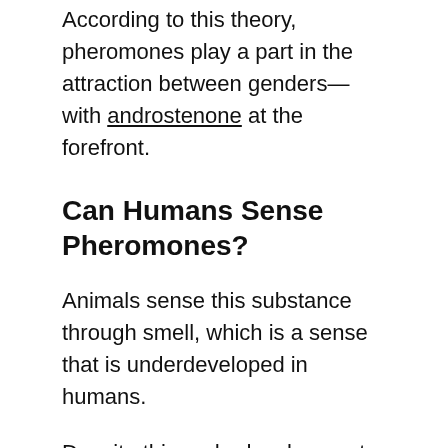According to this theory, pheromones play a part in the attraction between genders—with androstenone at the forefront.
Can Humans Sense Pheromones?
Animals sense this substance through smell, which is a sense that is underdeveloped in humans.
Despite this underdevelopment, if this substance exists it could be sensed through smell, especially when it comes to androstenes, which are said to be secreted in axillary sweat.